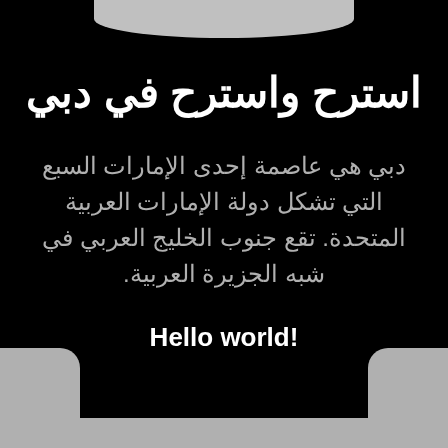استرح واسترح في دبي
دبي هي عاصمة إحدى الإمارات السبع التي تشكل دولة الإمارات العربية المتحدة. تقع جنوب الخليج العربي في شبه الجزيرة العربية.
Hello world!